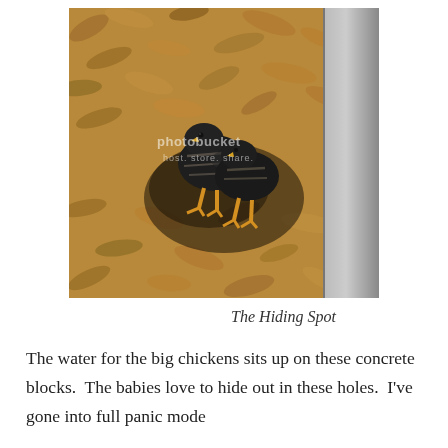[Figure (photo): Two small black chicks with striped markings standing on a bed of dry leaves/wood chips near a concrete block. A Photobucket watermark is visible on the image.]
The Hiding Spot
The water for the big chickens sits up on these concrete blocks.  The babies love to hide out in these holes.  I've gone into full panic mode